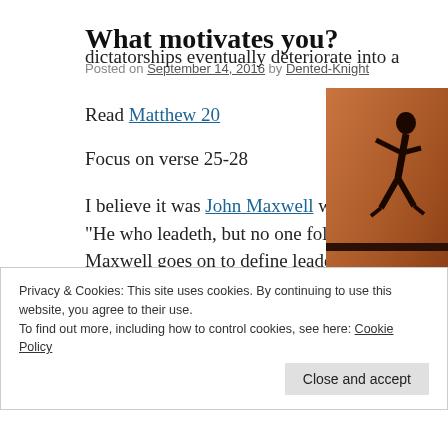What motivates you?
Posted on September 14, 2016 by Dented-Knight
Read Matthew 20
Focus on verse 25-28
I believe it was John Maxwell who made popular the proverb, “He who leadeth, but no one followeth, merely taketh a walk.” Maxwell goes on to define leadership as influence. Leaders influence people one of two ways. The best leaders earn the love and respect of the people...
[Figure (illustration): Illustration showing a figure in a running/pushing pose with the word LEAD visible, orange/brown background, appears to be a leadership book cover]
dictatorships eventually deteriorate into a
Privacy & Cookies: This site uses cookies. By continuing to use this website, you agree to their use.
To find out more, including how to control cookies, see here: Cookie Policy
Close and accept